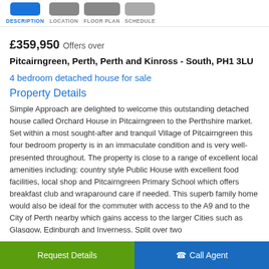DESCRIPTION | LOCATION | FLOOR PLAN | SCHEDULE
£359,950 Offers over
Pitcairngreen, Perth, Perth and Kinross - South, PH1 3LU
4 bedroom detached house for sale
Property Details
Simple Approach are delighted to welcome this outstanding detached house called Orchard House in Pitcairngreen to the Perthshire market. Set within a most sought-after and tranquil Village of Pitcairngreen this four bedroom property is in an immaculate condition and is very well-presented throughout. The property is close to a range of excellent local amenities including: country style Public House with excellent food facilities, local shop and Pitcairngreen Primary School which offers breakfast club and wraparound care if needed. This superb family home would also be ideal for the commuter with access to the A9 and to the City of Perth nearby which gains access to the larger Cities such as Glasgow, Edinburgh and Inverness. Split over two
Request Details | Call Agent